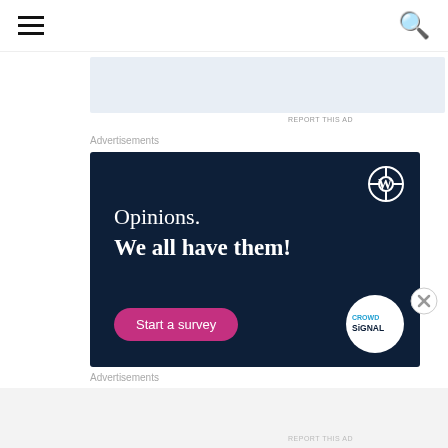☰  🔍
[Figure (other): Light blue/grey placeholder advertisement banner]
REPORT THIS AD
Advertisements
[Figure (other): WordPress advertisement: dark navy background with WordPress logo, text 'Opinions. We all have them!', pink 'Start a survey' button, and Crowdsignal logo circle]
Advertisements
REPORT THIS AD